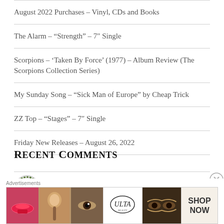August 2022 Purchases – Vinyl, CDs and Books
The Alarm – “Strength” – 7″ Single
Scorpions – ‘Taken By Force’ (1977) – Album Review (The Scorpions Collection Series)
My Sunday Song – “Sick Man of Europe” by Cheap Trick
ZZ Top – “Stages” – 7″ Single
Friday New Releases – August 26, 2022
Recent Comments
Badfinger (Max) on My Sunday Song – “…
[Figure (other): Advertisement banner for ULTA beauty products showing makeup images and SHOP NOW button]